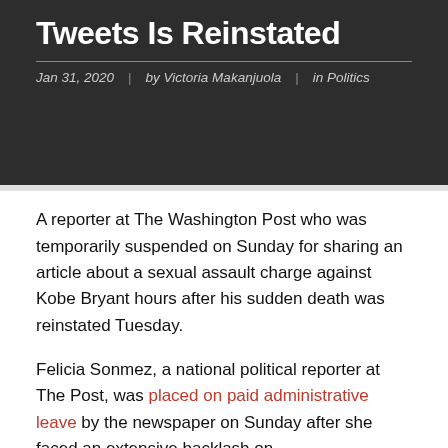Tweets Is Reinstated
Jan 31, 2020  |  by Victoria Makanjuola  |  in Politics
A reporter at The Washington Post who was temporarily suspended on Sunday for sharing an article about a sexual assault charge against Kobe Bryant hours after his sudden death was reinstated Tuesday.
Felicia Sonmez, a national political reporter at The Post, was placed on paid administrative leave by the newspaper on Sunday after she faced an extensive backlash on